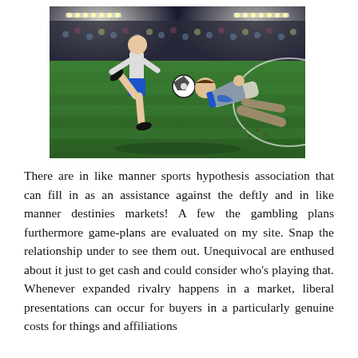[Figure (photo): Two soccer players on a green stadium pitch under stadium lights. One player in blue shorts is kicking a soccer ball while another player in business attire is sliding on the ground attempting a tackle.]
There are in like manner sports hypothesis association that can fill in as an assistance against the deftly and in like manner destinies markets! A few the gambling plans furthermore game-plans are evaluated on my site. Snap the relationship under to see them out. Unequivocal are enthused about it just to get cash and could consider who's playing that. Whenever expanded rivalry happens in a market, liberal presentations can occur for buyers in a particularly genuine costs for things and affiliations